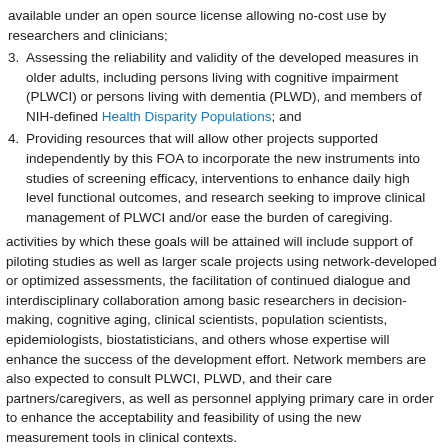available under an open source license allowing no-cost use by researchers and clinicians;
3. Assessing the reliability and validity of the developed measures in older adults, including persons living with cognitive impairment (PLWCI) or persons living with dementia (PLWD), and members of NIH-defined Health Disparity Populations; and
4. Providing resources that will allow other projects supported independently by this FOA to incorporate the new instruments into studies of screening efficacy, interventions to enhance daily high level functional outcomes, and research seeking to improve clinical management of PLWCI and/or ease the burden of caregiving.
activities by which these goals will be attained will include support of piloting studies as well as larger scale projects using network-developed or optimized assessments, the facilitation of continued dialogue and interdisciplinary collaboration among basic researchers in decision-making, cognitive aging, clinical scientists, population scientists, epidemiologists, biostatisticians, and others whose expertise will enhance the success of the development effort. Network members are also expected to consult PLWCI, PLWD, and their care partners/caregivers, as well as personnel applying primary care in order to enhance the acceptability and feasibility of using the new measurement tools in clinical contexts.
kground
rly 2020, the United States Preventive Services Task Force (USPSTF) relea...